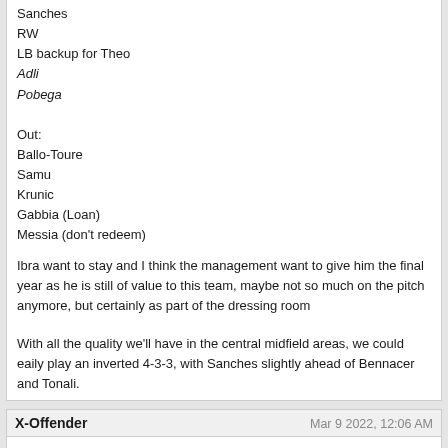Sanches
RW
LB backup for Theo
Adli
Pobega
Out:
Ballo-Toure
Samu
Krunic
Gabbia (Loan)
Messia (don't redeem)
Ibra want to stay and I think the management want to give him the final year as he is still of value to this team, maybe not so much on the pitch anymore, but certainly as part of the dressing room
With all the quality we'll have in the central midfield areas, we could eaily play an inverted 4-3-3, with Sanches slightly ahead of Bennacer and Tonali.
X-Offender
Mar 9 2022, 12:06 AM
Belotti is too underwhelming and won't solve anything. He's reached his max potential, maybe even started to decline now. We shouldn't justify his signing simply cos he's free.